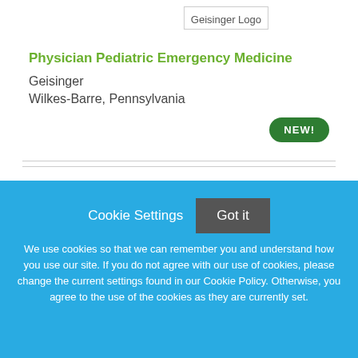[Figure (logo): Geisinger Logo placeholder image]
Physician Pediatric Emergency Medicine
Geisinger
Wilkes-Barre, Pennsylvania
[Figure (other): NEW! badge - green rounded pill button]
[Figure (other): Partial logo visible at bottom of white section]
Cookie Settings  Got it
We use cookies so that we can remember you and understand how you use our site. If you do not agree with our use of cookies, please change the current settings found in our Cookie Policy. Otherwise, you agree to the use of the cookies as they are currently set.